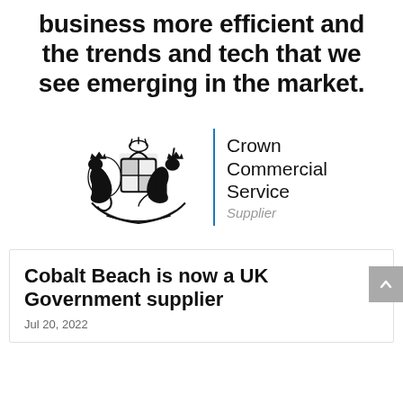business more efficient and the trends and tech that we see emerging in the market.
[Figure (logo): Crown Commercial Service Supplier logo: UK royal coat of arms crest on the left, a vertical blue dividing line, and the text 'Crown Commercial Service' in bold with 'Supplier' in italic grey below.]
Cobalt Beach is now a UK Government supplier
Jul 20, 2022